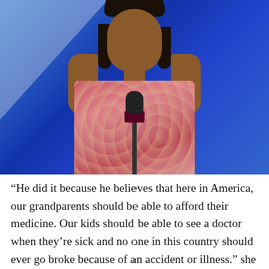[Figure (photo): A woman in a coral/pink patterned sleeveless dress speaking at a podium with a microphone, against a blue background with stage lighting.]
“He did it because he believes that here in America, our grandparents should be able to afford their medicine. Our kids should be able to see a doctor when they’re sick and no one in this country should ever go broke because of an accident or illness.” she